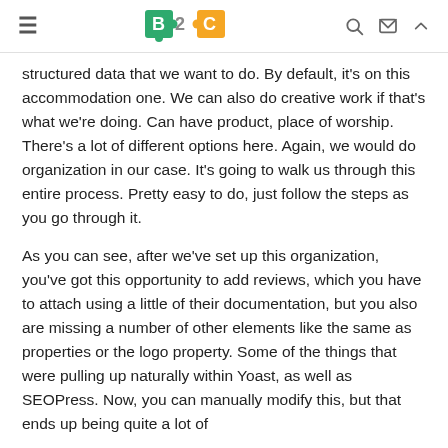B2C
structured data that we want to do. By default, it's on this accommodation one. We can also do creative work if that's what we're doing. Can have product, place of worship. There's a lot of different options here. Again, we would do organization in our case. It's going to walk us through this entire process. Pretty easy to do, just follow the steps as you go through it.
As you can see, after we've set up this organization, you've got this opportunity to add reviews, which you have to attach using a little of their documentation, but you also are missing a number of other elements like the same as properties or the logo property. Some of the things that were pulling up naturally within Yoast, as well as SEOPress. Now, you can manually modify this, but that ends up being quite a lot of